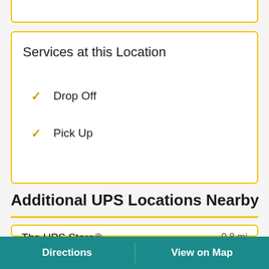Services at this Location
Drop Off
Pick Up
Additional UPS Locations Nearby
The UPS Store®    0.8 mi
Reopening today at 8:30am
Directions    View on Map